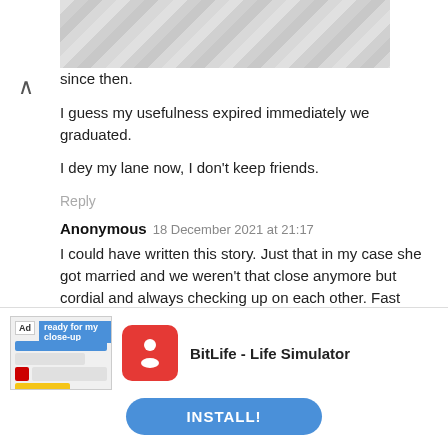[Figure (illustration): Geometric diamond/triangle pattern banner in grey tones]
since then.
I guess my usefulness expired immediately we graduated.
I dey my lane now, I don't keep friends.
Reply
Anonymous 18 December 2021 at 21:17
I could have written this story. Just that in my case she got married and we weren't that close anymore but cordial and always checking up on each other. Fast forward to 2018, I wanted to start processing Canadian PR and I told all my
[Figure (screenshot): Ad banner: BitLife - Life Simulator app advertisement with app icon and INSTALL! button]